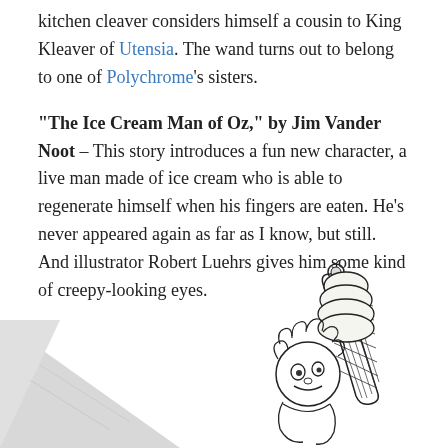kitchen cleaver considers himself a cousin to King Kleaver of Utensia. The wand turns out to belong to one of Polychrome's sisters.
"The Ice Cream Man of Oz," by Jim Vander Noot – This story introduces a fun new character, a live man made of ice cream who is able to regenerate himself when his fingers are eaten. He's never appeared again as far as I know, but still. And illustrator Robert Luehrs gives him some kind of creepy-looking eyes.
[Figure (illustration): Illustration showing a man made of ice cream with a soft-serve ice cream cone for a head topped with a cherry, curly hair/body, and creepy-looking eyes. A folded corner or page curl is visible in the lower left.]